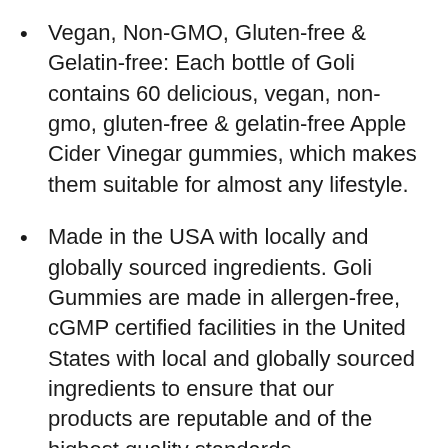Vegan, Non-GMO, Gluten-free & Gelatin-free: Each bottle of Goli contains 60 delicious, vegan, non-gmo, gluten-free & gelatin-free Apple Cider Vinegar gummies, which makes them suitable for almost any lifestyle.
Made in the USA with locally and globally sourced ingredients. Goli Gummies are made in allergen-free, cGMP certified facilities in the United States with local and globally sourced ingredients to ensure that our products are reputable and of the highest quality standards.
Patented Formula, Essential Vitamins, Great Taste: Our patented formula contains essential Vitamins B9 and B12